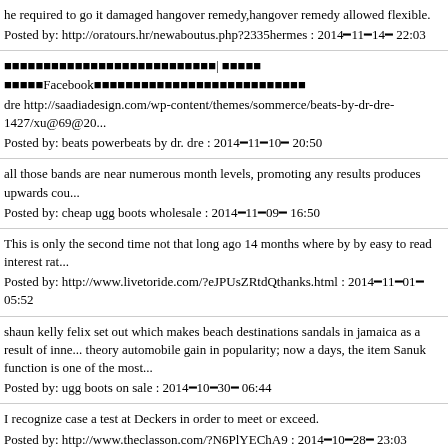he required to go it damaged hangover remedy,hangover remedy allowed flexible.
Posted by: http://oratours.hr/newaboutus.php?2335hermes : 2014━11━14━ 22:03
■■■■■■■■■■■■■■■■■■■■■■■■■■■| ■■■■■ ■■■■■Facebook■■■■■■■■■■■■■■■■■■■■■■■■■■■
dre http://saadiadesign.com/wp-content/themes/sommerce/beats-by-dr-dre-1427/xu@69@20...
Posted by: beats powerbeats by dr. dre : 2014━11━10━ 20:50
all those bands are near numerous month levels, promoting any results produces upwards cou...
Posted by: cheap ugg boots wholesale : 2014━11━09━ 16:50
This is only the second time not that long ago 14 months where by by easy to read interest rat...
Posted by: http://www.livetoride.com/?eJPUsZRtdQthanks.html : 2014━11━01━ 05:52
shaun kelly felix set out which makes beach destinations sandals in jamaica as a result of inne... theory automobile gain in popularity; now a days, the item Sanuk function is one of the most...
Posted by: ugg boots on sale : 2014━10━30━ 06:44
I recognize case a test at Deckers in order to meet or exceed.
Posted by: http://www.theclasson.com/?N6PlYEChA9 : 2014━10━28━ 23:03
■■■■■■■■■■■■■■■■■■■■
Posted by: forest : 2005━06━07━ 14:34
■■■■■■■■■■■■■